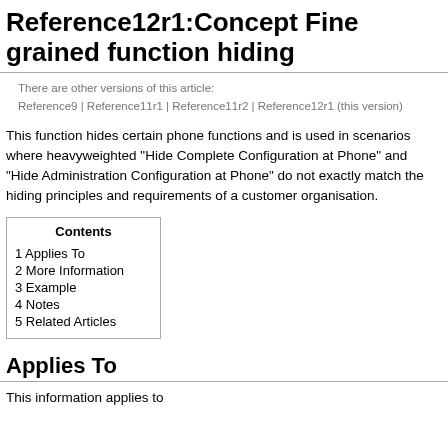Reference12r1:Concept Fine grained function hiding
There are other versions of this article: Reference9 | Reference11r1 | Reference11r2 | Reference12r1 (this version)
This function hides certain phone functions and is used in scenarios where heavyweighted "Hide Complete Configuration at Phone" and "Hide Administration Configuration at Phone" do not exactly match the hiding principles and requirements of a customer organisation.
| Contents |
| --- |
| 1 Applies To |
| 2 More Information |
| 3 Example |
| 4 Notes |
| 5 Related Articles |
Applies To
This information applies to